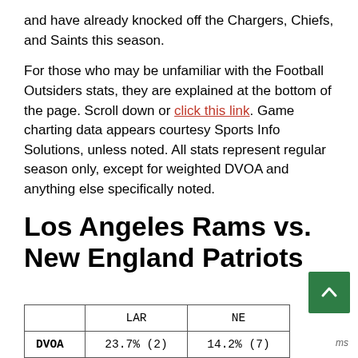and have already knocked off the Chargers, Chiefs, and Saints this season.
For those who may be unfamiliar with the Football Outsiders stats, they are explained at the bottom of the page. Scroll down or click this link. Game charting data appears courtesy Sports Info Solutions, unless noted. All stats represent regular season only, except for weighted DVOA and anything else specifically noted.
Los Angeles Rams vs. New England Patriots
|  | LAR | NE |
| --- | --- | --- |
| DVOA | 23.7% (2) | 14.2% (7) |